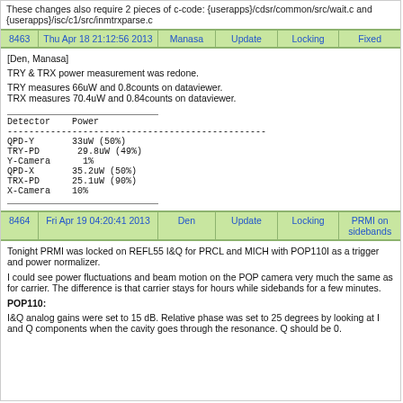These changes also require 2 pieces of c-code: {userapps}/cdsr/common/src/wait.c and {userapps}/isc/c1/src/inmtrxparse.c
| 8463 | Thu Apr 18 21:12:56 2013 | Manasa | Update | Locking | Fixed |
| --- | --- | --- | --- | --- | --- |
[Den, Manasa]

TRY & TRX power measurement was redone.

TRY measures 66uW and 0.8counts on dataviewer.
TRX measures 70.4uW and 0.84counts on dataviewer.

Detector    Power
--------------------------------------------
QPD-Y       33uW (50%)
TRY-PD      29.8uW (49%)
Y-Camera    1%
QPD-X       35.2uW (50%)
TRX-PD      25.1uW (90%)
X-Camera    10%
| 8464 | Fri Apr 19 04:20:41 2013 | Den | Update | Locking | PRMI on sidebands |
| --- | --- | --- | --- | --- | --- |
Tonight PRMI was locked on REFL55 I&Q for PRCL and MICH with POP110I as a trigger and power normalizer.

I could see power fluctuations and beam motion on the POP camera very much the same as for carrier. The difference is that carrier stays for hours while sidebands for a few minutes.

POP110:

I&Q analog gains were set to 15 dB. Relative phase was set to 25 degrees by looking at I and Q components when the cavity goes through the resonance. Q should be 0.